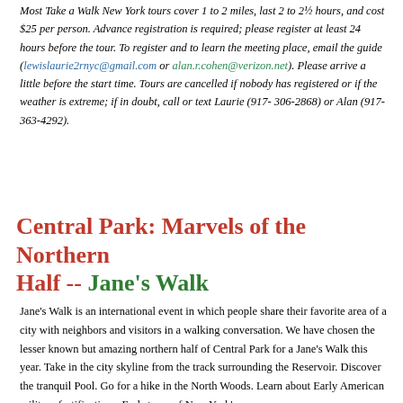Most Take a Walk New York tours cover 1 to 2 miles, last 2 to 2½ hours, and cost $25 per person. Advance registration is required; please register at least 24 hours before the tour. To register and to learn the meeting place, email the guide (lewislaurie2rnyc@gmail.com or alan.r.cohen@verizon.net). Please arrive a little before the start time. Tours are cancelled if nobody has registered or if the weather is extreme; if in doubt, call or text Laurie (917-306-2868) or Alan (917-363-4292).
Central Park: Marvels of the Northern Half -- Jane's Walk
Jane's Walk is an international event in which people share their favorite area of a city with neighbors and visitors in a walking conversation. We have chosen the lesser known but amazing northern half of Central Park for a Jane's Walk this year. Take in the city skyline from the track surrounding the Reservoir. Discover the tranquil Pool. Go for a hike in the North Woods. Learn about Early American military fortifications. End at one of New York's...